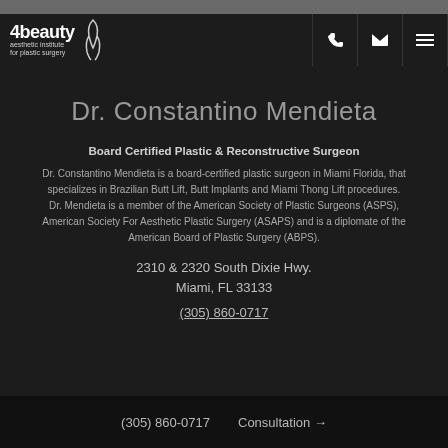4beauty aesthetic institute for plastic surgery
Dr. Constantino Mendieta
Board Certified Plastic & Reconstructive Surgeon
Dr. Constantino Mendieta is a board-certified plastic surgeon in Miami Florida, that specializes in Brazilian Butt Lift, Butt Implants and Miami Thong Lift procedures. Dr. Mendieta is a member of the American Society of Plastic Surgeons (ASPS), American Society For Aesthetic Plastic Surgery (ASAPS) and is a diplomate of the American Board of Plastic Surgery (ABPS).
2310 & 2320 South Dixie Hwy.
Miami, FL 33133
(305) 860-0717
(305) 860-0717   Consultation →